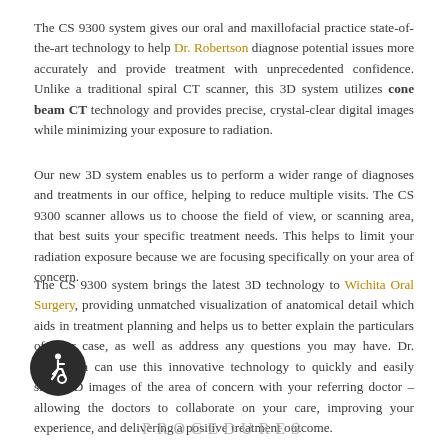The CS 9300 system gives our oral and maxillofacial practice state-of-the-art technology to help Dr. Robertson diagnose potential issues more accurately and provide treatment with unprecedented confidence. Unlike a traditional spiral CT scanner, this 3D system utilizes cone beam CT technology and provides precise, crystal-clear digital images while minimizing your exposure to radiation.
Our new 3D system enables us to perform a wider range of diagnoses and treatments in our office, helping to reduce multiple visits. The CS 9300 scanner allows us to choose the field of view, or scanning area, that best suits your specific treatment needs. This helps to limit your radiation exposure because we are focusing specifically on your area of concern.
The CS 9300 system brings the latest 3D technology to Wichita Oral Surgery, providing unmatched visualization of anatomical detail which aids in treatment planning and helps us to better explain the particulars of your case, as well as address any questions you may have. Dr. Robertson can use this innovative technology to quickly and easily share 3D images of the area of concern with your referring doctor – allowing the doctors to collaborate on your care, improving your experience, and delivering a positive treatment outcome.
[Figure (illustration): Accessibility icon — white wheelchair symbol on dark circular background]
PROCEDURES